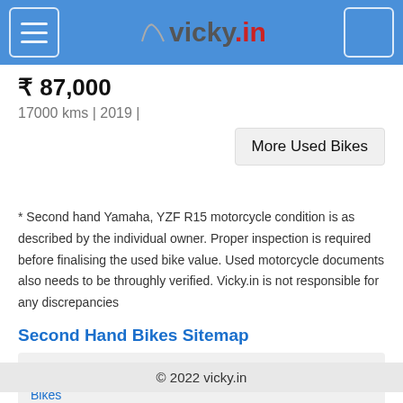vicky.in
₹ 87,000
17000 kms | 2019 |
More Used Bikes
* Second hand Yamaha, YZF R15 motorcycle condition is as described by the individual owner. Proper inspection is required before finalising the used bike value. Used motorcycle documents also needs to be throughly verified. Vicky.in is not responsible for any discrepancies
Second Hand Bikes Sitemap
Home » Second Hand Bikes » Bikes in Nanded » Yamaha Bikes » YZF R15 Bikes » Yamaha YZF R15 Bikes in Nanded
© 2022 vicky.in